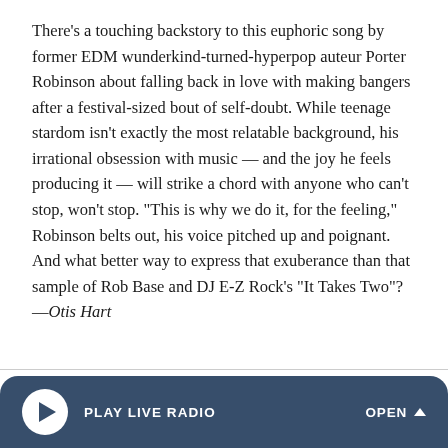There's a touching backstory to this euphoric song by former EDM wunderkind-turned-hyperpop auteur Porter Robinson about falling back in love with making bangers after a festival-sized bout of self-doubt. While teenage stardom isn't exactly the most relatable background, his irrational obsession with music — and the joy he feels producing it — will strike a chord with anyone who can't stop, won't stop. "This is why we do it, for the feeling," Robinson belts out, his voice pitched up and poignant. And what better way to express that exuberance than that sample of Rob Base and DJ E-Z Rock's "It Takes Two"? —Otis Hart